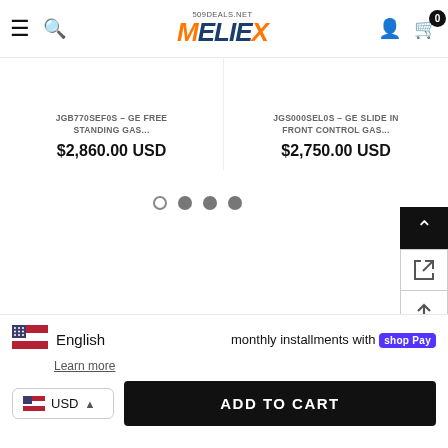509DEALS.NET MELIEX — navigation header with hamburger, search, logo, user icon, cart (0)
JGB770SEF0S – GE FREE STANDING GAS...
$2,860.00 USD
JGS000SEL0S – GE SLIDE IN FRONT CONTROL GAS...
$2,750.00 USD
[Figure (other): Carousel pagination dots: one empty circle and three filled grey circles]
[Figure (other): Right-side floating buttons: back-to-top (black), external link icon, up arrow icon]
monthly installments with shop Pay
Learn more
English
USD
ADD TO CART